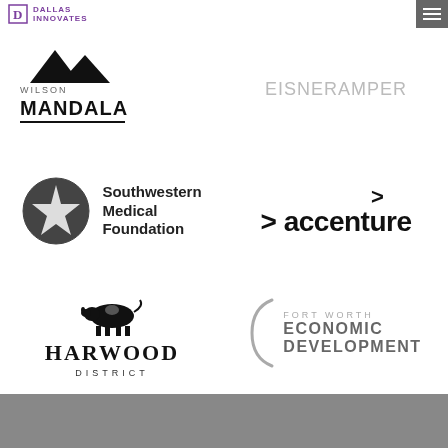Dallas Innovates
[Figure (logo): Wilson Mandala logo with mountain peaks icon and text]
[Figure (logo): EisnerAmper logo in light gray uppercase text]
[Figure (logo): Southwestern Medical Foundation logo with star in circle]
[Figure (logo): Accenture logo with greater-than symbol accent mark]
[Figure (logo): Harwood District logo with cow illustration]
[Figure (logo): Fort Worth Economic Development logo with brace bracket]